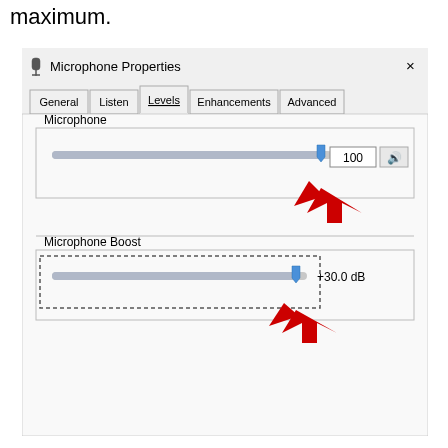maximum.
[Figure (screenshot): Windows Microphone Properties dialog box showing the Levels tab. Microphone slider set to 100 with a red arrow pointing to it. Microphone Boost slider set to +30.0 dB with a red arrow pointing to it. A dotted rectangle highlights the Microphone Boost slider area.]